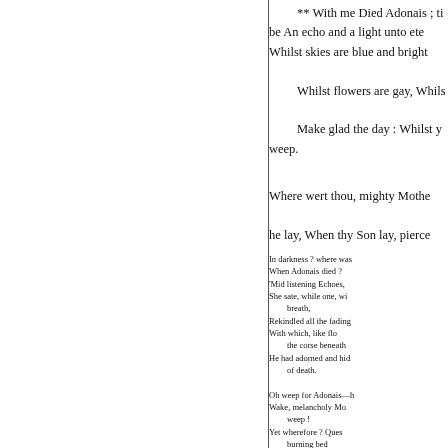** With me Died Adonais ; ti be An echo and a light unto ete Whilst skies are blue and bright Whilst flowers are gay, Whils Make glad the day : Whilst y weep.
Where wert thou, mighty Mothe he lay, When thy Son lay, pierce
In darkness ? where was When Adonais died ? 'Mid listening Echoes, She sate, while one, wi breath, Rekindled all the fading With which, like flo the corse beneath He had adorned and hid of death. Oh weep for Adonais—h Wake, melancholy Mo weep ! Yet wherefore? Ques burning bed Thy fiery tears, and le keep, Like his, a mute an sleep ; For he is gone, where and fair Descend;—oh, dream n orous Deep Will yet restore him to Death feeds on his n laughs at our desp